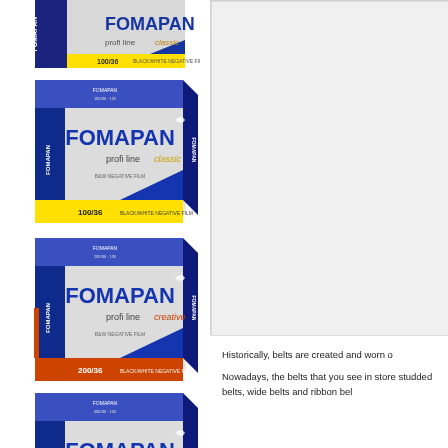[Figure (photo): Fomapan Classic 100/36 black and white negative film box product photo - partially cropped at top]
[Figure (photo): Fomapan Classic profi line 100/36 black and white negative film box product photo - blue box]
[Figure (photo): Fomapan Creative profi line 200/36 black and white negative film box product photo - blue/orange box]
[Figure (photo): Fomapan Action profi line 400/36 black and white negative film box product photo - blue/green box]
[Figure (illustration): Light gray blank rectangle panel on right side of page - appears to be placeholder or image area]
Historically, belts are created and worn o
Nowadays, the belts that you see in store studded belts, wide belts and ribbon bel